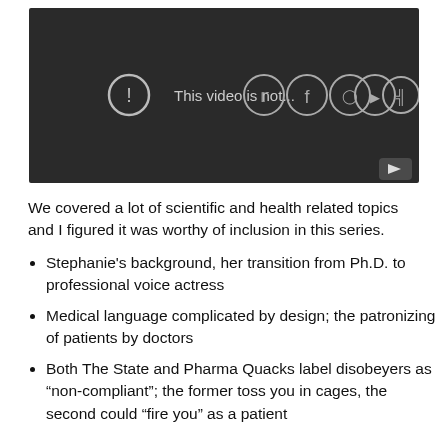[Figure (screenshot): Embedded video thumbnail showing a dark background with an error/unavailable icon and social media icons (Twitter, Facebook, Instagram, YouTube, RSS) overlaid, with a YouTube play button in the bottom right corner. Text reads 'This video is not...']
We covered a lot of scientific and health related topics and I figured it was worthy of inclusion in this series.
Stephanie's background, her transition from Ph.D. to professional voice actress
Medical language complicated by design; the patronizing of patients by doctors
Both The State and Pharma Quacks label disobeyers as “non-compliant”; the former toss you in cages, the second could “fire you” as a patient